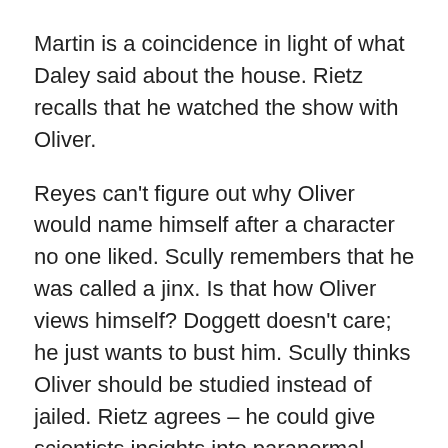Martin is a coincidence in light of what Daley said about the house. Rietz recalls that he watched the show with Oliver.
Reyes can't figure out why Oliver would name himself after a character no one liked. Scully remembers that he was called a jinx. Is that how Oliver views himself? Doggett doesn't care; he just wants to bust him. Scully thinks Oliver should be studied instead of jailed. Rietz agrees – he could give scientists insights into paranormal activity, even proof that it exists. Scully wants that, as it would vindicate Mulder and the rest of the agents for all their work on the X-Files.
Doggett and Rietz go to Oliver's, where Doggett spots something interesting through the window. Oliver won't answer the door, so Doggett picks the lock and goes in